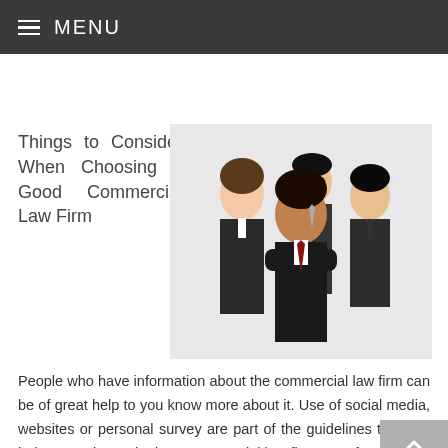MENU
Things to Consider When Choosing a Good Commercial Law Firm
[Figure (photo): Group of four business professionals in dark suits posing together, smiling, against a white background.]
People who have information about the commercial law firm can be of great help to you know more about it. Use of social media, websites or personal survey are part of the guidelines that can help you to know the best commercial law firm to go for.